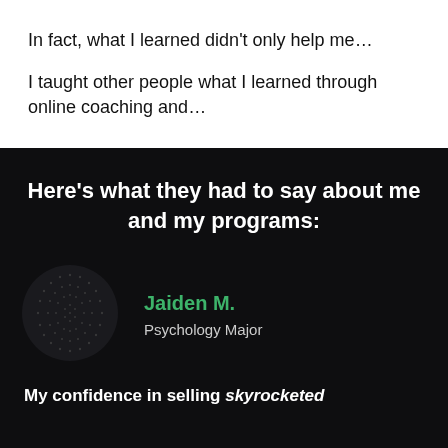In fact, what I learned didn't only help me…
I taught other people what I learned through online coaching and…
Here's what they had to say about me and my programs:
[Figure (illustration): Circular dotted placeholder avatar image on dark background]
Jaiden M.
Psychology Major
My confidence in selling skyrocketed